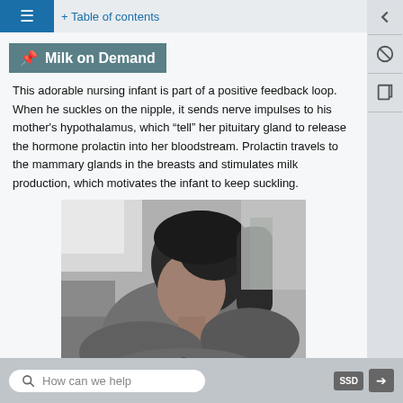Table of contents
Milk on Demand
This adorable nursing infant is part of a positive feedback loop. When he suckles on the nipple, it sends nerve impulses to his mother's hypothalamus, which "tell" her pituitary gland to release the hormone prolactin into her bloodstream. Prolactin travels to the mammary glands in the breasts and stimulates milk production, which motivates the infant to keep suckling.
[Figure (photo): Black and white photograph of a woman nursing an infant, looking down toward the baby]
How can we help